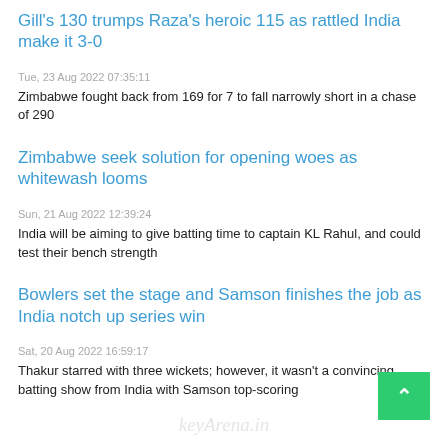Gill's 130 trumps Raza's heroic 115 as rattled India make it 3-0
Tue, 23 Aug 2022 07:35:11
Zimbabwe fought back from 169 for 7 to fall narrowly short in a chase of 290
Zimbabwe seek solution for opening woes as whitewash looms
Sun, 21 Aug 2022 12:39:24
India will be aiming to give batting time to captain KL Rahul, and could test their bench strength
Bowlers set the stage and Samson finishes the job as India notch up series win
Sat, 20 Aug 2022 16:59:17
Thakur starred with three wickets; however, it wasn't a convincing batting show from India with Samson top-scoring